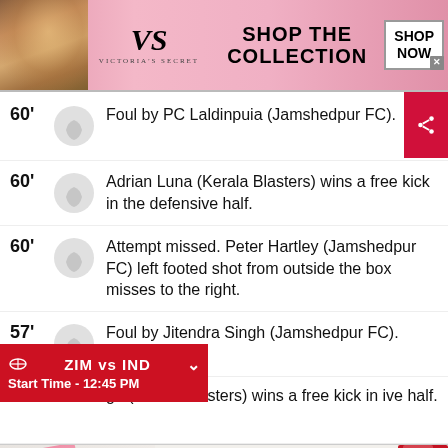[Figure (screenshot): Victoria's Secret advertisement banner with pink background, model photo, VS logo, 'SHOP THE COLLECTION' text and 'SHOP NOW' button]
60' Foul by PC Laldinpuia (Jamshedpur FC).
60' Adrian Luna (Kerala Blasters) wins a free kick in the defensive half.
60' Attempt missed. Peter Hartley (Jamshedpur FC) left footed shot from outside the box misses to the right.
57' Foul by Jitendra Singh (Jamshedpur FC).
gh (Kerala Blasters) wins a free kick in ive half.
[Figure (infographic): ZIM vs IND cricket ticker overlay showing Start Time - 12:45 PM]
[Figure (screenshot): MAC cosmetics advertisement banner with lipsticks, MAC logo and SHOP NOW button]